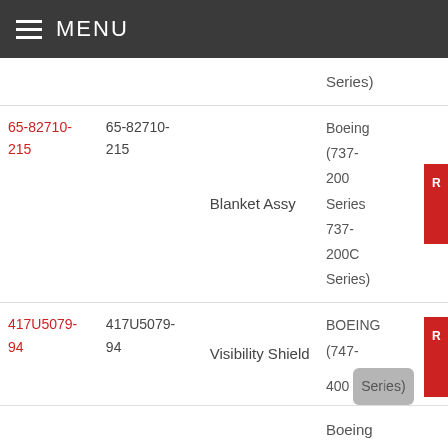MENU
| Part Link | Part Number | Description | Aircraft | Action |
| --- | --- | --- | --- | --- |
|  |  |  | Series) | R |
| 65-82710-215 | 65-82710-215 | Blanket Assy | Boeing (737-200 Series 737-200C Series) | R |
| 417U5079-94 | 417U5079-94 | Visibility Shield | BOEING (747-400 Series) | R |
|  |  |  | Boeing |  |